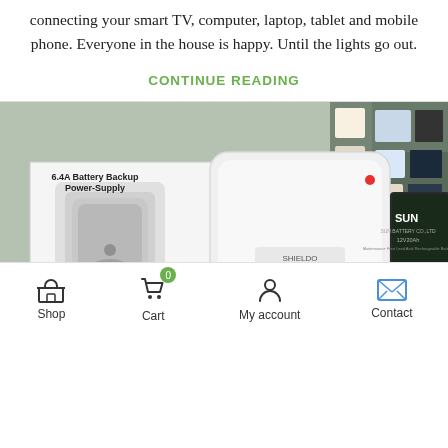connecting your smart TV, computer, laptop, tablet and mobile phone. Everyone in the house is happy. Until the lights go out.
CONTINUE READING
[Figure (photo): Photo of a 6.4A Battery Backup Power-Supply unit (Shieldo Tronics brand) next to its box and a SUN brand 12V sealed lead acid rechargeable battery, displayed in a retail store setting.]
Shop   Cart   My account   Contact